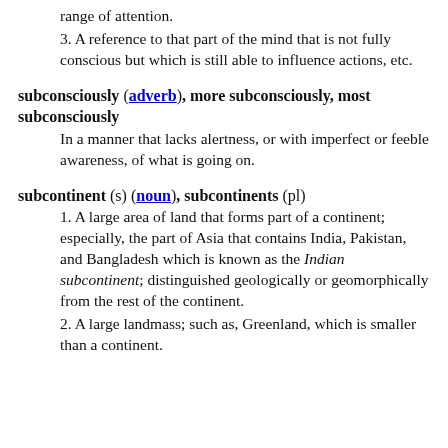range of attention.
3. A reference to that part of the mind that is not fully conscious but which is still able to influence actions, etc.
subconsciously (adverb), more subconsciously, most subconsciously
In a manner that lacks alertness, or with imperfect or feeble awareness, of what is going on.
subcontinent (s) (noun), subcontinents (pl)
1. A large area of land that forms part of a continent; especially, the part of Asia that contains India, Pakistan, and Bangladesh which is known as the Indian subcontinent; distinguished geologically or geomorphically from the rest of the continent.
2. A large landmass; such as, Greenland, which is smaller than a continent.